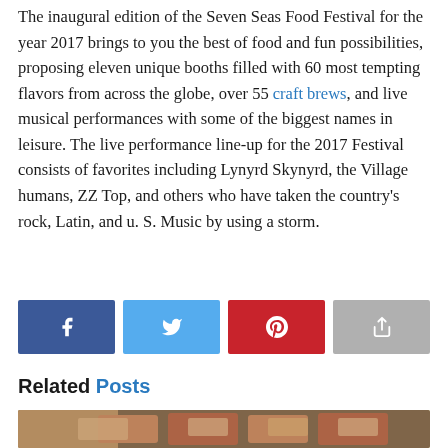The inaugural edition of the Seven Seas Food Festival for the year 2017 brings to you the best of food and fun possibilities, proposing eleven unique booths filled with 60 most tempting flavors from across the globe, over 55 craft brews, and live musical performances with some of the biggest names in leisure. The live performance line-up for the 2017 Festival consists of favorites including Lynyrd Skynyrd, the Village humans, ZZ Top, and others who have taken the country's rock, Latin, and u. S. Music by using a storm.
[Figure (infographic): Social sharing buttons: Facebook (blue), Twitter (light blue), Pinterest (red), Share (grey)]
Related Posts
[Figure (photo): Food photo showing stuffed peppers or similar baked food items in foil trays]